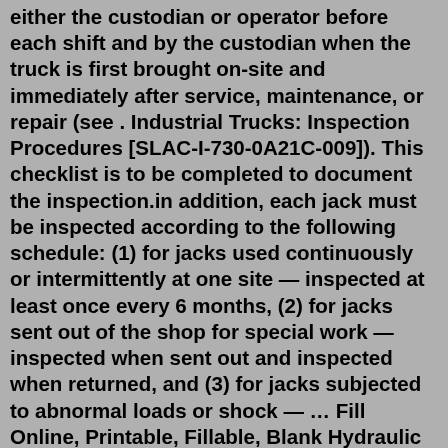either the custodian or operator before each shift and by the custodian when the truck is first brought on-site and immediately after service, maintenance, or repair (see . Industrial Trucks: Inspection Procedures [SLAC-I-730-0A21C-009]). This checklist is to be completed to document the inspection.in addition, each jack must be inspected according to the following schedule: (1) for jacks used continuously or intermittently at one site — inspected at least once every 6 months, (2) for jacks sent out of the shop for special work — inspected when sent out and inspected when returned, and (3) for jacks subjected to abnormal loads or shock — … Fill Online, Printable, Fillable, Blank Hydraulic Jack Inspection Form Form Use Fill to complete blank online CITY OF BANGOR (ME) pdf forms for free. Once completed you can sign your fillable form or send for signing. All forms are printable and downloadable. Hydraulic Jack Inspection Form On average this form takes 7 minutes to completeMar 16, 2016 · How often should jacks be inspected? Wiki User. · 2016-03-